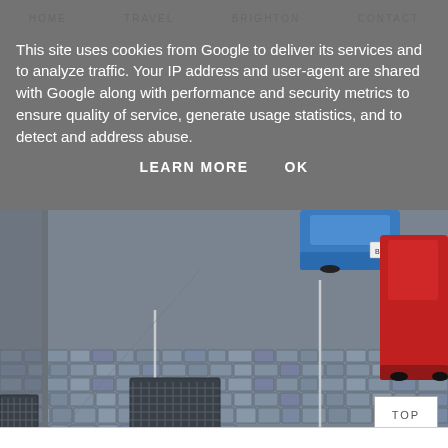HOME   TRAVEL   BRIGHTON   CONTACT
This site uses cookies from Google to deliver its services and to analyze traffic. Your IP address and user-agent are shared with Google along with performance and security metrics to ensure quality of service, generate usage statistics, and to detect and address abuse.
LEARN MORE   OK
[Figure (photo): Cobblestone street with parked cars — a blue car and a red car visible at the top right, cobblestones filling the foreground with white painted parking lines and a metal drain grate.]
We had one more place in mind before taking the Eurotunnel home, ok a
TOP